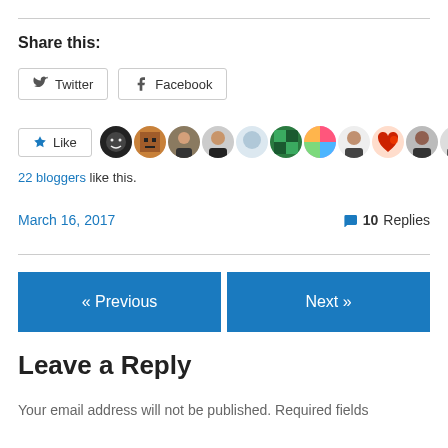Share this:
Twitter  Facebook
Like  [avatars]  22 bloggers like this.
March 16, 2017   💬 10 Replies
« Previous   Next »
Leave a Reply
Your email address will not be published. Required fields